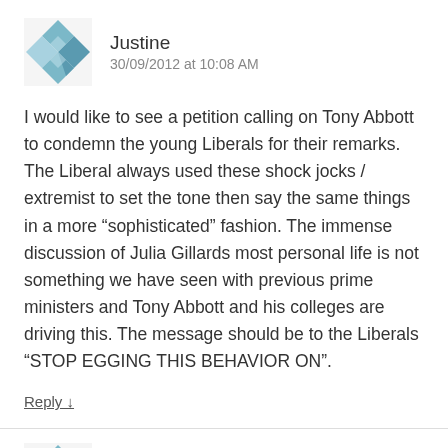[Figure (illustration): Diamond/quilt pattern avatar icon in blue and grey tones for user Justine]
Justine
30/09/2012 at 10:08 AM
I would like to see a petition calling on Tony Abbott to condemn the young Liberals for their remarks. The Liberal always used these shock jocks / extremist to set the tone then say the same things in a more “sophisticated” fashion. The immense discussion of Julia Gillards most personal life is not something we have seen with previous prime ministers and Tony Abbott and his colleges are driving this. The message should be to the Liberals “STOP EGGING THIS BEHAVIOR ON”.
Reply ↓
[Figure (illustration): Diamond/quilt pattern avatar icon in blue and grey tones for user Thomas Brookes]
Thomas Brookes
30/09/2012 at 11:02 AM